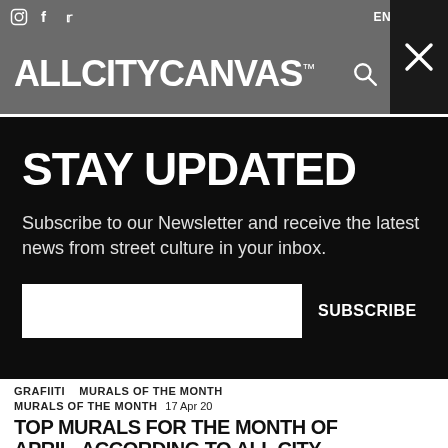ALLCITYCANVAS™  |  ENGLISH
STAY UPDATED
Subscribe to our Newsletter and receive the latest news from street culture in your inbox.
SUBSCRIBE
[Figure (photo): Colorful graffiti mural art strip]
GRAFIITI   MURALS OF THE MONTH
MURALS OF THE MONTH   17 Apr 20
TOP MURALS FOR THE MONTH OF APRIL, ACCORDING TO ALL CITY